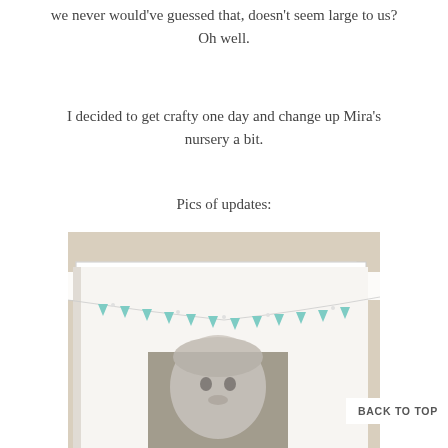we never would've guessed that, doesn't seem large to us? Oh well.
I decided to get crafty one day and change up Mira's nursery a bit.
Pics of updates:
[Figure (photo): A white picture frame with teal triangular pennant bunting draped across the top, with a black-and-white photo of a baby inside the frame, set against a beige wall.]